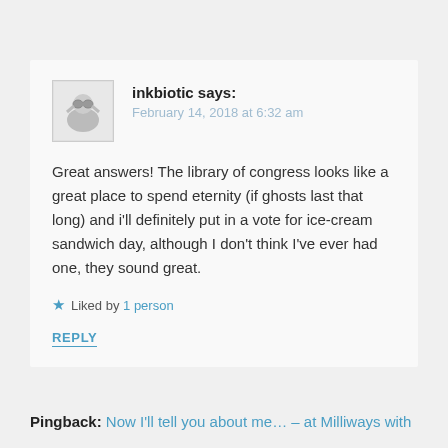inkbiotic says: February 14, 2018 at 6:32 am
Great answers! The library of congress looks like a great place to spend eternity (if ghosts last that long) and i'll definitely put in a vote for ice-cream sandwich day, although I don't think I've ever had one, they sound great.
Liked by 1 person
REPLY
Pingback: Now I'll tell you about me... – at Milliways with